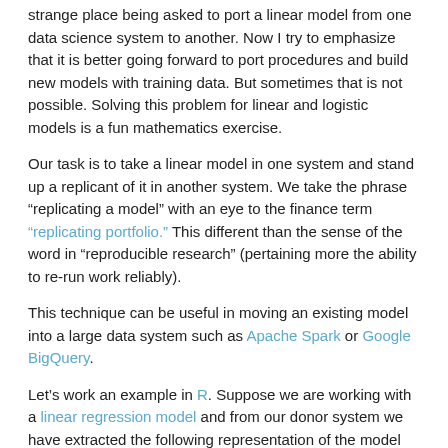strange place being asked to port a linear model from one data science system to another. Now I try to emphasize that it is better going forward to port procedures and build new models with training data. But sometimes that is not possible. Solving this problem for linear and logistic models is a fun mathematics exercise.
Our task is to take a linear model in one system and stand up a replicant of it in another system. We take the phrase “replicating a model” with an eye to the finance term “replicating portfolio.” This different than the sense of the word in “reproducible research” (pertaining more the ability to re-run work reliably).
This technique can be useful in moving an existing model into a large data system such as Apache Spark or Google BigQuery.
Let’s work an example in R. Suppose we are working with a linear regression model and from our donor system we have extracted the following representation of the model as “intercept” and “betas”.
intercept <- 3
betas <- c(weight = 2, height = 4)
Our goal is to build a linear regression model that has the above coefficients. The way we are going to do this is by building our own